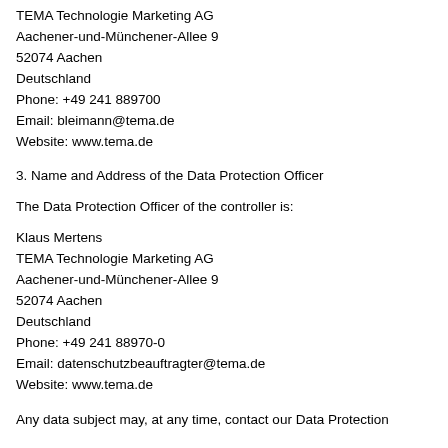TEMA Technologie Marketing AG
Aachener-und-Münchener-Allee 9
52074 Aachen
Deutschland
Phone: +49 241 889700
Email: bleimann@tema.de
Website: www.tema.de
3. Name and Address of the Data Protection Officer
The Data Protection Officer of the controller is:
Klaus Mertens
TEMA Technologie Marketing AG
Aachener-und-Münchener-Allee 9
52074 Aachen
Deutschland
Phone: +49 241 88970-0
Email: datenschutzbeauftragter@tema.de
Website: www.tema.de
Any data subject may, at any time, contact our Data Protection